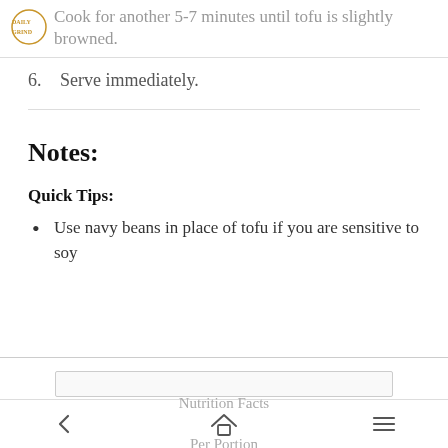Cook for another 5-7 minutes until tofu is slightly browned.
6. Serve immediately.
Notes:
Quick Tips:
Use navy beans in place of tofu if you are sensitive to soy
Nutrition Facts Per Portion